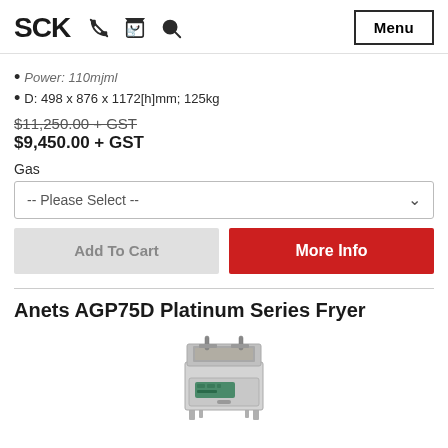SCK
Power: 110mjml
D: 498 x 876 x 1172[h]mm; 125kg
$11,250.00 + GST
$9,450.00 + GST
Gas
-- Please Select --
Add To Cart
More Info
Anets AGP75D Platinum Series Fryer
[Figure (photo): Anets AGP75D Platinum Series Fryer appliance photo showing a stainless steel floor-standing gas fryer with basket handles visible at top and a control panel on the front door.]